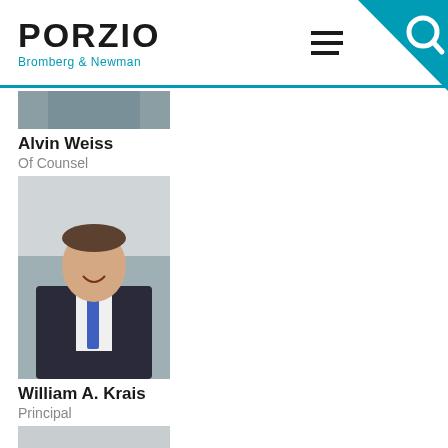PORZIO Bromberg & Newman
[Figure (photo): Partial photo of Alvin Weiss at top of page]
Alvin Weiss
Of Counsel
[Figure (photo): Professional headshot of William A. Krais in dark suit with blue tie]
William A. Krais
Principal
[Figure (photo): Professional headshot of Warren J. Martin Jr. in dark suit with purple tie]
Warren J. Martin Jr.
Principal
[Figure (photo): Partial photo of next person, cropped at bottom of page]